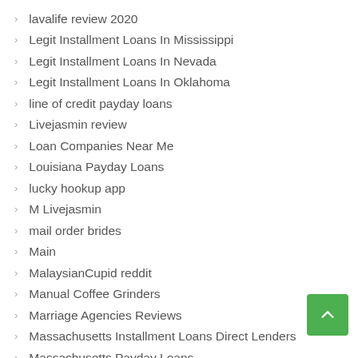lavalife review 2020
Legit Installment Loans In Mississippi
Legit Installment Loans In Nevada
Legit Installment Loans In Oklahoma
line of credit payday loans
Livejasmin review
Loan Companies Near Me
Louisiana Payday Loans
lucky hookup app
M Livejasmin
mail order brides
Main
MalaysianCupid reddit
Manual Coffee Grinders
Marriage Agencies Reviews
Massachusetts Installment Loans Direct Lenders
Massachusetts Payday Loans
match review